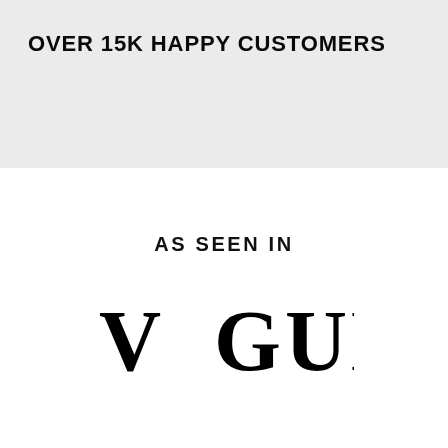OVER 15K HAPPY CUSTOMERS
AS SEEN IN
[Figure (logo): Vogue magazine logo in large serif bold black font]